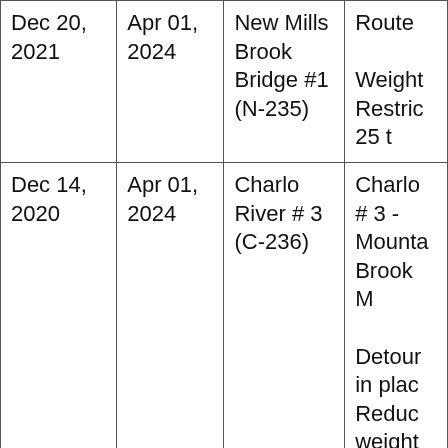| Dec 20, 2021 | Apr 01, 2024 | New Mills Brook Bridge #1 (N-235) | Route

Weight Restric 25 t |
| Dec 14, 2020 | Apr 01, 2024 | Charlo River # 3 (C-236) | Charlo # 3 - Mounta Brook M

Detour in plac Reduc weight tons. |
| Jul 21, 2020 | Apr 01, 2024 | Portage River Bridge #2 (P-730) | Portag North R |